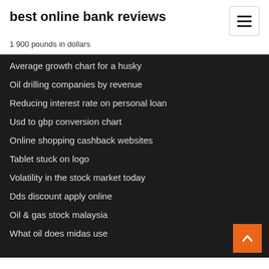best online bank reviews
1 900 pounds in dollars
Average growth chart for a husky
Oil drilling companies by revenue
Reducing interest rate on personal loan
Usd to gbp conversion chart
Online shopping cashback websites
Tablet stuck on logo
Volatility in the stock market today
Dds discount apply online
Oil & gas stock malaysia
What oil does midas use